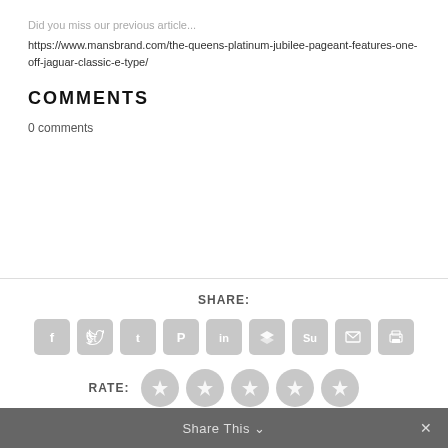Did you miss our previous article...
https://www.mansbrand.com/the-queens-platinum-jubilee-pageant-features-one-off-jaguar-classic-e-type/
COMMENTS
0 comments
SHARE:
[Figure (infographic): Row of 9 social share icon buttons (Facebook, Twitter, Tumblr, Pinterest, LinkedIn, Buffer, StumbleUpon, Email, Print) in grey rounded squares]
RATE:
[Figure (infographic): Five grey star rating circles]
Share This ∨  ✕